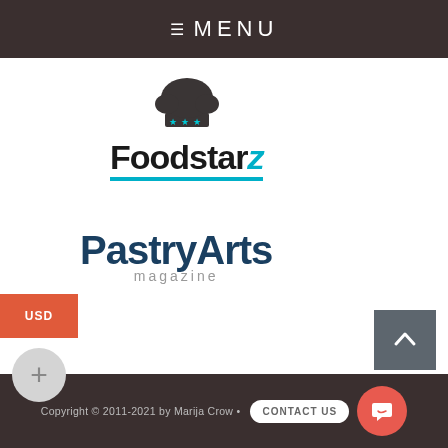≡ MENU
[Figure (logo): Foodstarz 7 logo with chef hat icon above, teal underline below]
[Figure (logo): Pastry Arts magazine logo in dark navy blue]
USD
Copyright © 2011-2021 by Marija Crow • Contact us